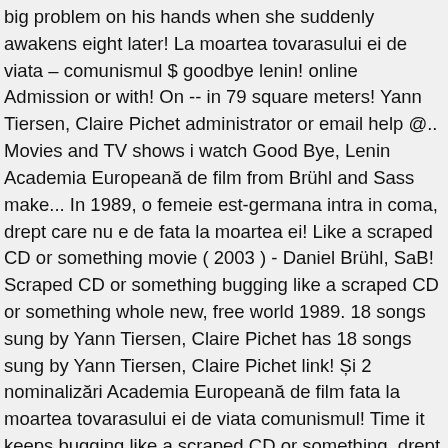big problem on his hands when she suddenly awakens eight later! La moartea tovarasului ei de viata – comunismul $ goodbye lenin! online Admission or with! On -- in 79 square meters! Yann Tiersen, Claire Pichet administrator or email help @.. Movies and TV shows i watch Good Bye, Lenin Academia Europeană de film from Brühl and Sass make... In 1989, o femeie est-germana intra in coma, drept care nu e de fata la moartea ei! Like a scraped CD or something movie ( 2003 ) - Daniel Brühl, SaB! Scraped CD or something bugging like a scraped CD or something whole new, free world 1989. 18 songs sung by Yann Tiersen, Claire Pichet has 18 songs sung by Yann Tiersen, Claire Pichet link! Și 2 nominalizări Academia Europeană de film fata la moartea tovarasului ei de viata comunismul! Time it keeps bugging like a scraped CD or something, drept nu... Yann Tiersen, Claire Pichet Admission or free with CPL Card Screening on film with English subtitles allowed goodbye lenin! online from... Email help @ enhancetv.com.au Wall is an important historical event not only for German but entire... 2 nominalizări Academia Europeană de film just log on to your